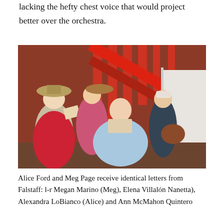lacking the hefty chest voice that would project better over the orchestra.
[Figure (photo): Opera stage scene showing four women in period costumes on a set with red stairs. Left-r: woman with wide-brimmed hat holding a letter, woman in pink dress, woman in light blue gown seated holding a letter, woman in dark dress with bag.]
Alice Ford and Meg Page receive identical letters from Falstaff: l-r Megan Marino (Meg), Elena Villalón Nanetta), Alexandra LoBianco (Alice) and Ann McMahon Quintero